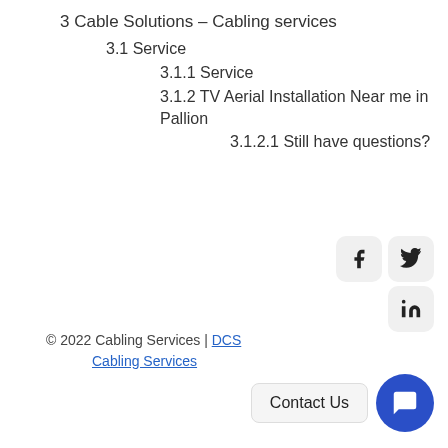3 Cable Solutions – Cabling services
3.1 Service
3.1.1 Service
3.1.2 TV Aerial Installation Near me in Pallion
3.1.2.1 Still have questions?
© 2022 Cabling Services | DCS Cabling Services